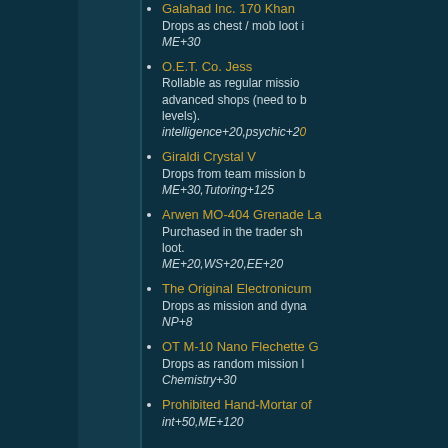Galahad Inc. 170 Khan — Drops as chest / mob loot — ME+30
O.E.T. Co. Jess — Rollable as regular mission advanced shops (need to b levels). — intelligence+20,psychic+20
Giraldi Crystal V — Drops from team mission b — ME+30,Tutoring+125
Arwen MO-404 Grenade La — Purchased in the trader sh loot. — ME+20,WS+20,EE+20
The Original Electronicum — Drops as mission and dyna — NP+8
OT M-10 Nano Flechette G — Drops as random mission l — Chemistry+30
Prohibited Hand-Mortar of — int+50,ME+120
Armor suggestions
These can give you hints, what